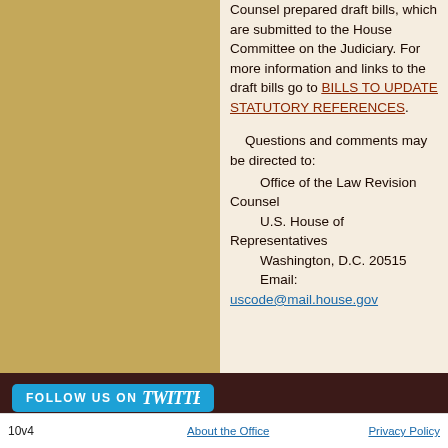Counsel prepared draft bills, which are submitted to the House Committee on the Judiciary. For more information and links to the draft bills go to BILLS TO UPDATE STATUTORY REFERENCES.

Questions and comments may be directed to:
    Office of the Law Revision Counsel
    U.S. House of Representatives
    Washington, D.C. 20515
    Email: uscode@mail.house.gov
[Figure (other): Follow us on Twitter button with Twitter bird logo, cyan/blue background]
10v4   About the Office   Privacy Policy